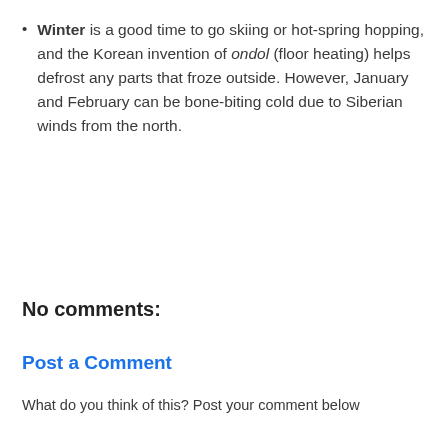Winter is a good time to go skiing or hot-spring hopping, and the Korean invention of ondol (floor heating) helps defrost any parts that froze outside. However, January and February can be bone-biting cold due to Siberian winds from the north.
No comments:
Post a Comment
What do you think of this? Post your comment below